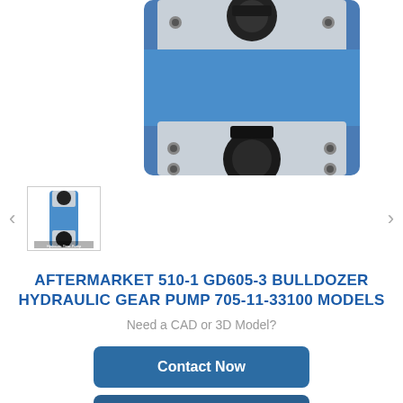[Figure (photo): Blue hydraulic gear pump closeup showing metal mounting plate with bolt holes and black shaft fitting, blue casing visible]
[Figure (photo): Thumbnail image of blue hydraulic gear pump showing full unit from front]
[Figure (illustration): Green WhatsApp icon with phone handset, with 'WhatsApp Online' overlay text]
AFTERMARKET 510-1 GD605-3 BULLDOZER HYDRAULIC GEAR PUMP 705-11-33100 MODELS
Need a CAD or 3D Model?
Contact Now
WhatsApp